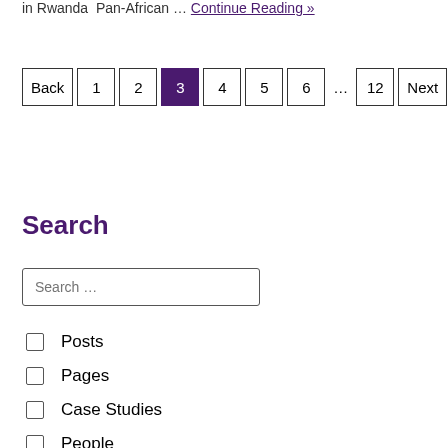in Rwanda  Pan-African … Continue Reading »
Back 1 2 3 4 5 6 … 12 Next
Search
Search …
Posts
Pages
Case Studies
People